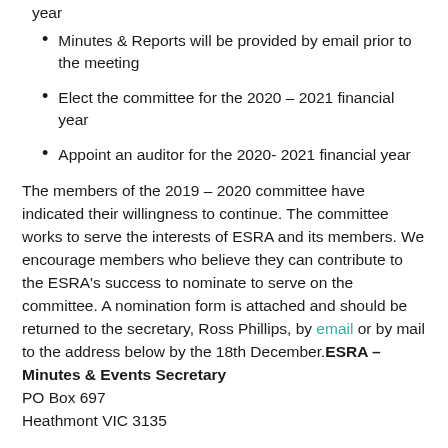year
Minutes & Reports will be provided by email prior to the meeting
Elect the committee for the 2020 – 2021 financial year
Appoint an auditor for the 2020- 2021 financial year
The members of the 2019 – 2020 committee have indicated their willingness to continue. The committee works to serve the interests of ESRA and its members. We encourage members who believe they can contribute to the ESRA's success to nominate to serve on the committee. A nomination form is attached and should be returned to the secretary, Ross Phillips, by email or by mail to the address below by the 18th December.ESRA – Minutes & Events Secretary
PO Box 697
Heathmont VIC 3135
ESRA members include all players registered to participate in Autumn Ronnant 2020, plus all players who have participated